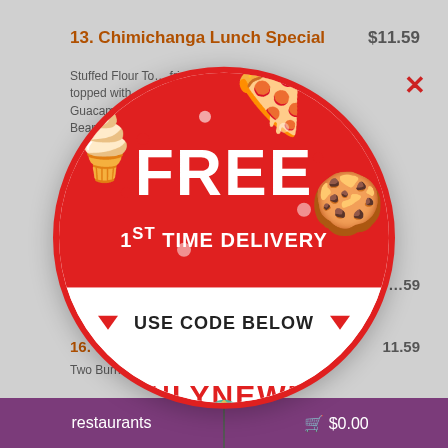13. Chimichanga Lunch Special
$11.59
Stuffed Flour To... fried, topped with... Guacam... Bean...
[Figure (infographic): Circular promotional overlay with red and white sections. Top red section shows FREE in large white text, then 1ST TIME DELIVERY. White middle band says USE CODE BELOW with red triangles. Bottom white section shows promo code ONLYNEW56, *max value $5.00, and Takeout4You logo. Emoji decorations: pizza slice, ice cream cone, cookie.]
16. Sp... 11.59
Two Burrito...
restaurants   🛒 $0.00